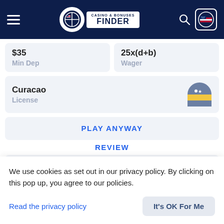[Figure (screenshot): Casino & Bonuses Finder website header with hamburger menu, logo, search icon, and US flag button on dark navy background]
$35
Min Dep
25x(d+b)
Wager
Curacao
License
PLAY ANYWAY
REVIEW
Bonus Code
Not Required
User feedback
We use cookies as set out in our privacy policy. By clicking on this pop up, you agree to our policies.
Read the privacy policy
It's OK For Me